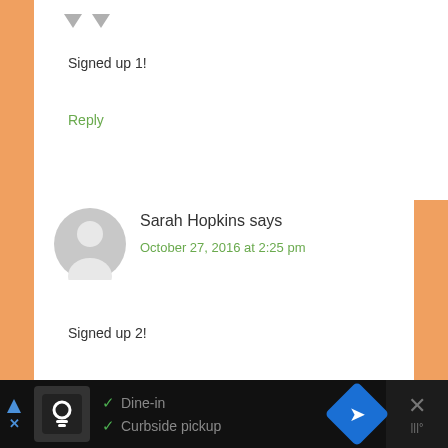[Figure (other): Two downward-pointing grey arrows (vote down controls) at top of comment card]
Signed up 1!
Reply
[Figure (other): Grey circular avatar placeholder icon for user Sarah Hopkins]
Sarah Hopkins says
October 27, 2016 at 2:25 pm
Signed up 2!
Reply
[Figure (other): Advertisement banner at bottom showing restaurant info with Dine-in and Curbside pickup options]